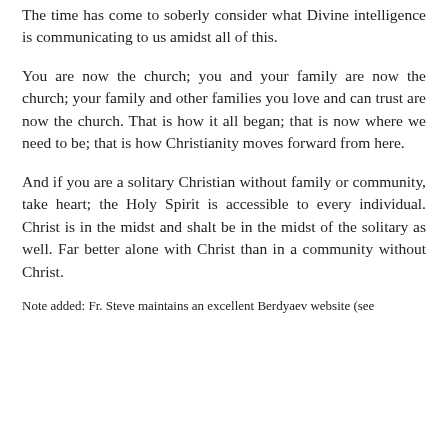The time has come to soberly consider what Divine intelligence is communicating to us amidst all of this.
You are now the church; you and your family are now the church; your family and other families you love and can trust are now the church. That is how it all began; that is now where we need to be; that is how Christianity moves forward from here.
And if you are a solitary Christian without family or community, take heart; the Holy Spirit is accessible to every individual. Christ is in the midst and shalt be in the midst of the solitary as well. Far better alone with Christ than in a community without Christ.
Note added: Fr. Steve maintains an excellent Berdyaev website (see